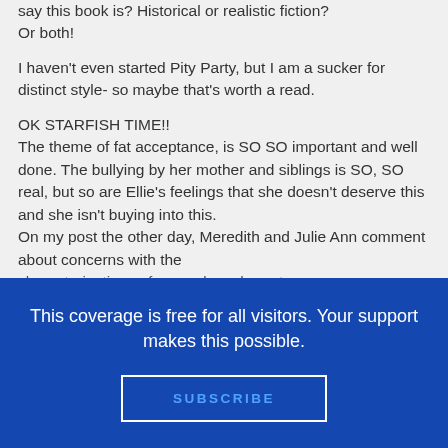say this book is? Historical or realistic fiction? Or both!
I haven't even started Pity Party, but I am a sucker for distinct style- so maybe that's worth a read.
OK STARFISH TIME!!
The theme of fat acceptance, is SO SO important and well done. The bullying by her mother and siblings is SO, SO real, but so are Ellie's feelings that she doesn't deserve this and she isn't buying into this.
On my post the other day, Meredith and Julie Ann comment about concerns with the characterizations of secondary characters.
This coverage is free for all visitors. Your support makes this possible.
SUBSCRIBE